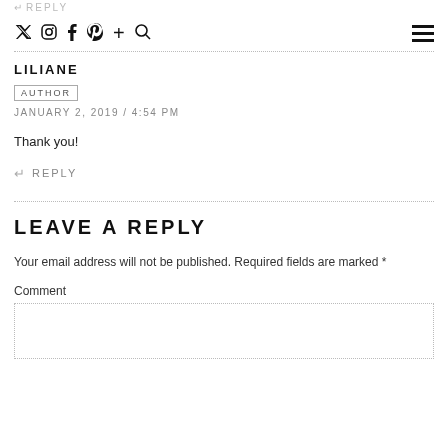↩ REPLY
Social icons: Twitter, Instagram, Facebook, Pinterest, Plus, Search, Hamburger menu
LILIANE
AUTHOR
JANUARY 2, 2019 / 4:54 PM
Thank you!
↩ REPLY
LEAVE A REPLY
Your email address will not be published. Required fields are marked *
Comment